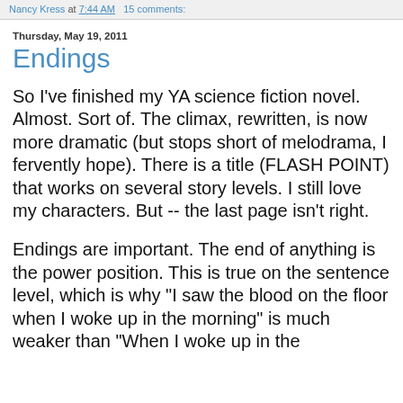Nancy Kress at 7:44 AM   15 comments:
Thursday, May 19, 2011
Endings
So I've finished my YA science fiction novel. Almost. Sort of. The climax, rewritten, is now more dramatic (but stops short of melodrama, I fervently hope). There is a title (FLASH POINT) that works on several story levels. I still love my characters. But -- the last page isn't right.
Endings are important. The end of anything is the power position. This is true on the sentence level, which is why "I saw the blood on the floor when I woke up in the morning" is much weaker than "When I woke up in the..."